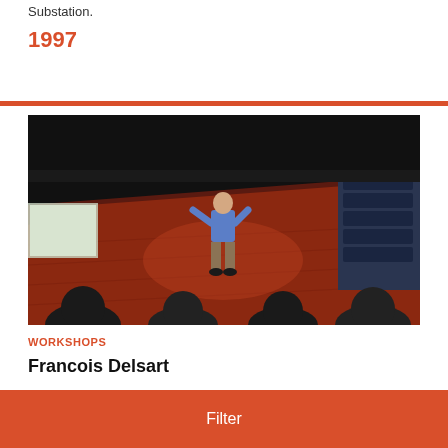Substation.
1997
[Figure (photo): A person standing on a dark red wood floor stage in a theater, gesturing with hands. Audience silhouettes visible in the foreground. Theater seats visible on the right side. Dark background.]
WORKSHOPS
Francois Delsart
Filter